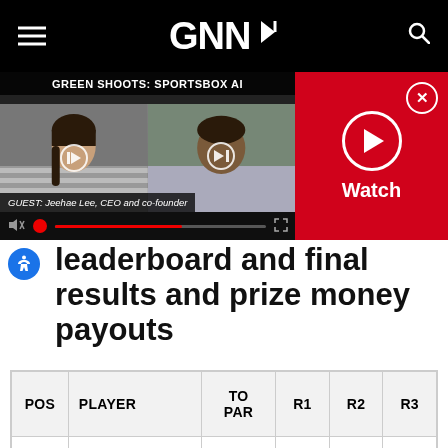GNN
[Figure (screenshot): Video player showing 'GREEN SHOOTS: SPORTSBOX AI' with two people visible in thumbnails, play controls, and a red Watch panel on the right with a play button.]
leaderboard and final results and prize money payouts
| POS | PLAYER | TO PAR | R1 | R2 | R3 |
| --- | --- | --- | --- | --- | --- |
| 1 | Adam Scott | -9 | 70 | 65 | 66 |
|  | Sergio |  |  |  |  |